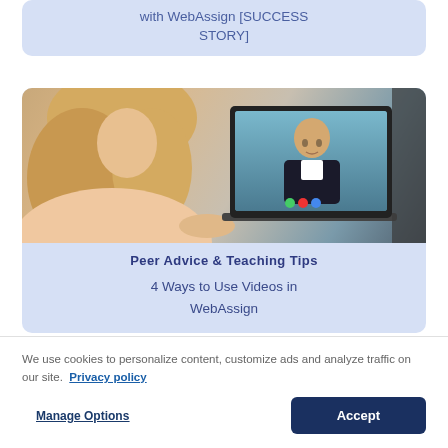with WebAssign [SUCCESS STORY]
[Figure (photo): Photo of a woman with blonde hair looking at a laptop screen showing a man in a business casual shirt on a video call]
Peer Advice & Teaching Tips
4 Ways to Use Videos in WebAssign
We use cookies to personalize content, customize ads and analyze traffic on our site. Privacy policy
Manage Options
Accept